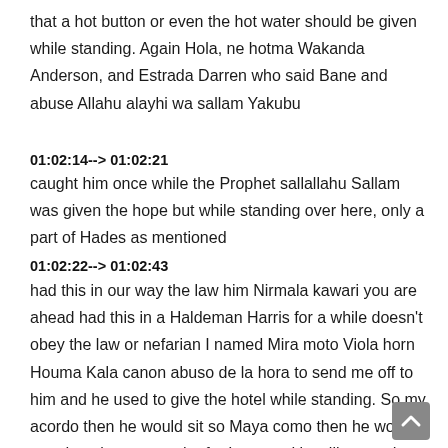that a hot button or even the hot water should be given while standing. Again Hola, ne hotma Wakanda Anderson, and Estrada Darren who said Bane and abuse Allahu alayhi wa sallam Yakubu
01:02:14--> 01:02:21
caught him once while the Prophet sallallahu Sallam was given the hope but while standing over here, only a part of Hades as mentioned
01:02:22--> 01:02:43
had this in our way the law him Nirmala kawari you are ahead had this in a Haldeman Harris for a while doesn't obey the law or nefarian I named Mira moto Viola horn Houma Kala canon abuso de la hora to send me off to him and he used to give the hotel while standing. So my acordo then he would sit so Maya como then he would stand again come at the far Luna and just like you do now,